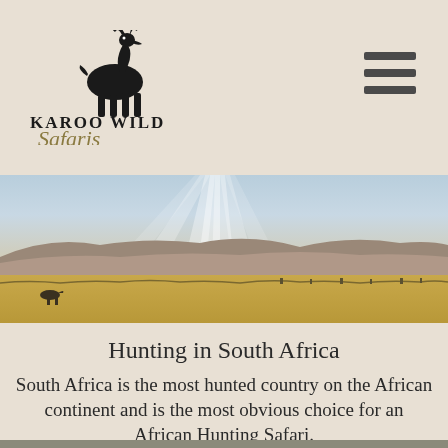[Figure (logo): Karoo Wild Safaris logo with a leaping kudu silhouette above the text 'KAROO WILD Safaris' in black serif and italic script fonts]
[Figure (photo): Wide panoramic landscape photo of the Karoo, South Africa: flat golden scrubland in the foreground, mountains in the background, dramatic rays of sunlight breaking through clouds]
Hunting in South Africa
South Africa is the most hunted country on the African continent and is the most obvious choice for an African Hunting Safari.